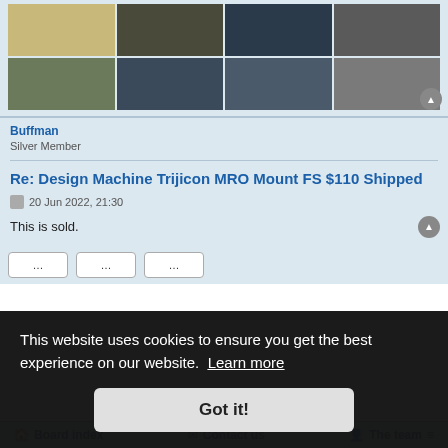[Figure (photo): Grid of 8 firearm/equipment photos arranged in 2 rows of 4]
Buffman
Silver Member
Re: Design Machine Trijicon MRO Mount FS $110 Shipped
20 Jun 2022, 21:30
This is sold.
This website uses cookies to ensure you get the best experience on our website. Learn more
Got it!
Board index   Contact us   The team